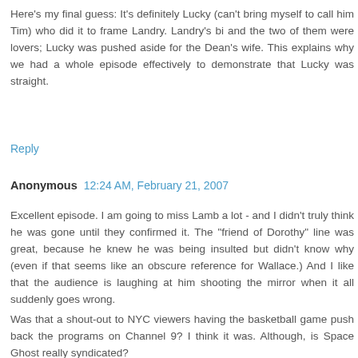Here's my final guess: It's definitely Lucky (can't bring myself to call him Tim) who did it to frame Landry. Landry's bi and the two of them were lovers; Lucky was pushed aside for the Dean's wife. This explains why we had a whole episode effectively to demonstrate that Lucky was straight.
Reply
Anonymous 12:24 AM, February 21, 2007
Excellent episode. I am going to miss Lamb a lot - and I didn't truly think he was gone until they confirmed it. The "friend of Dorothy" line was great, because he knew he was being insulted but didn't know why (even if that seems like an obscure reference for Wallace.) And I like that the audience is laughing at him shooting the mirror when it all suddenly goes wrong.
Was that a shout-out to NYC viewers having the basketball game push back the programs on Channel 9? I think it was. Although, is Space Ghost really syndicated?